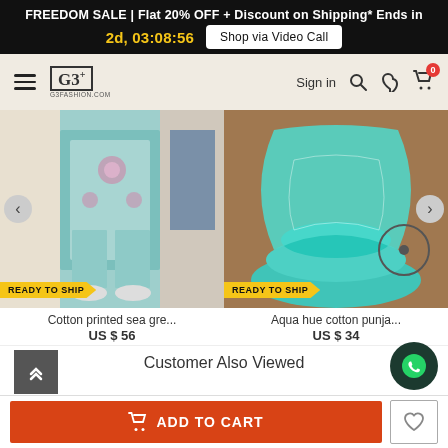FREEDOM SALE | Flat 20% OFF + Discount on Shipping* Ends in 2d, 03:08:56  Shop via Video Call
[Figure (screenshot): G3Fashion.com navigation bar with hamburger menu, G3+ logo, Sign in, search, wishlist and cart icons]
[Figure (photo): Cotton printed sea green suit - product photo with READY TO SHIP badge]
Cotton printed sea gre...
US $ 56
[Figure (photo): Aqua hue cotton punjabi suit - product photo with READY TO SHIP badge]
Aqua hue cotton punja...
US $ 34
Customer Also Viewed
ADD TO CART